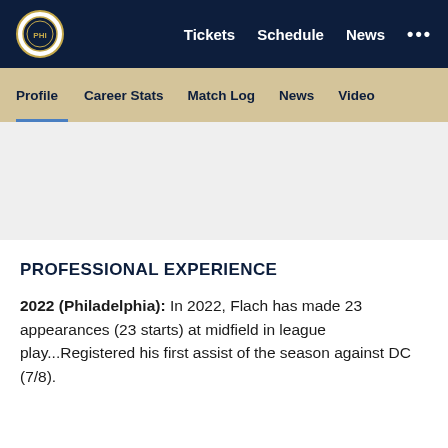Tickets  Schedule  News  •••
Profile  Career Stats  Match Log  News  Video
[Figure (photo): Gray placeholder image area for player photo]
PROFESSIONAL EXPERIENCE
2022 (Philadelphia): In 2022, Flach has made 23 appearances (23 starts) at midfield in league play...Registered his first assist of the season against DC (7/8).